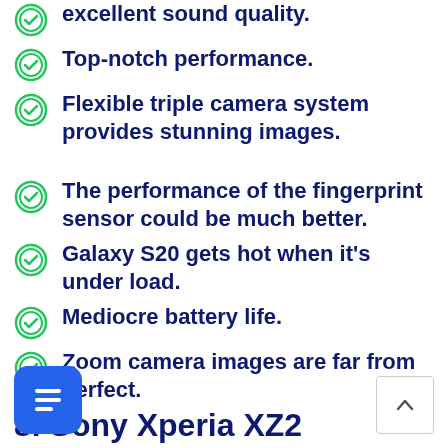excellent sound quality.
Top-notch performance.
Flexible triple camera system provides stunning images.
The performance of the fingerprint sensor could be much better.
Galaxy S20 gets hot when it's under load.
Mediocre battery life.
Zoom camera images are far from perfect.
8. Sony Xperia XZ2